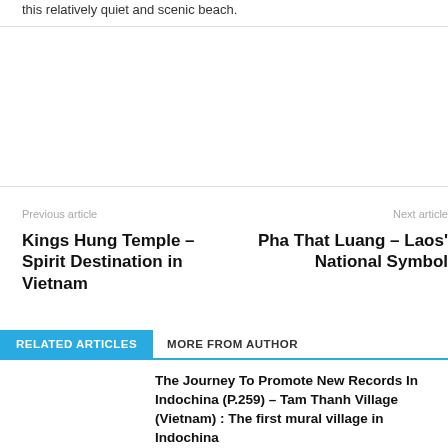this relatively quiet and scenic beach.
Previous article
Kings Hung Temple – Spirit Destination in Vietnam
Next article
Pha That Luang – Laos' National Symbol
RELATED ARTICLES   MORE FROM AUTHOR
The Journey To Promote New Records In Indochina (P.259) – Tam Thanh Village (Vietnam) : The first mural village in Indochina